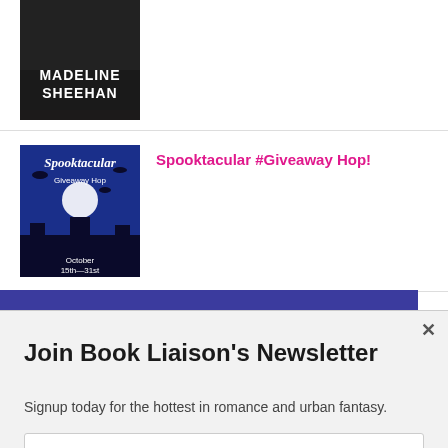[Figure (illustration): Dark book cover with 'MADELINE SHEEHAN' text in white at bottom]
[Figure (illustration): Spooktacular Giveaway Hop banner image - dark blue/purple with Halloween theme, October 15th-31st]
Spooktacular #Giveaway Hop!
[Figure (illustration): Hoppy Easter Eggstravaganza Giveaway Hop banner - March 29 - April 5th]
Hoppy Easter Eggstravaganza Giveaway Hop
Join Book Liaison's Newsletter
Signup today for the hottest in romance and urban fantasy.
Enter your email address
Subscribe Now